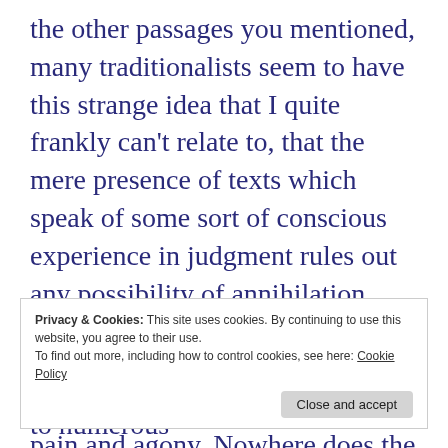the other passages you mentioned, many traditionalists seem to have this strange idea that I quite frankly can't relate to, that the mere presence of texts which speak of some sort of conscious experience in judgment rules out any possibility of annihilation. And yet, violent death is immediately preceded by sorrow and anger, and its infliction entails pain and agony. Nowhere does the Bible indicate that these experiences will last forever. Finally, yes, traditionalists tend to think that Jews of
Privacy & Cookies: This site uses cookies. By continuing to use this website, you agree to their use.
To find out more, including how to control cookies, see here: Cookie Policy
Close and accept
Modern research, with its access to numerous